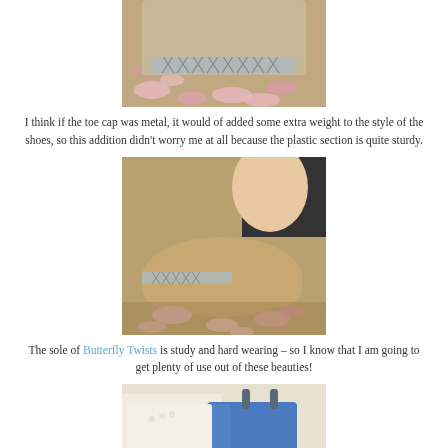[Figure (photo): Close-up photo of shoes with metallic lattice toe cap on a ground covered with pink flower petals]
I think if the toe cap was metal, it would of added some extra weight to the style of the shoes, so this addition didn’t worry me at all because the plastic section is quite sturdy.
[Figure (photo): Side view of a foot wearing a beige flat ballet shoe with metallic detail, surrounded by pink petals on the ground]
The sole of Butterfly Twists is study and hard wearing – so I know that I am going to get plenty of use out of these beauties!
[Figure (photo): Photo showing a blue handbag or pouch, partially visible at the bottom of the page]